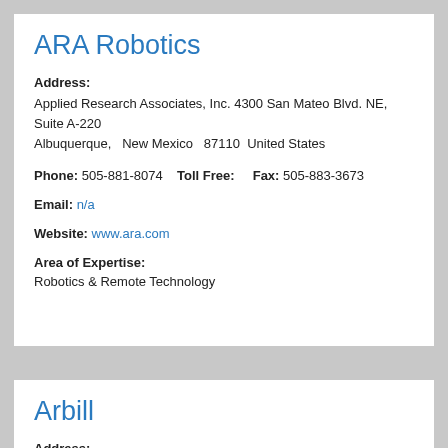ARA Robotics
Address:
Applied Research Associates, Inc. 4300 San Mateo Blvd. NE, Suite A-220 Albuquerque,   New Mexico   87110  United States
Phone: 505-881-8074    Toll Free:     Fax: 505-883-3673
Email: n/a
Website: www.ara.com
Area of Expertise:
Robotics & Remote Technology
Arbill
Address: